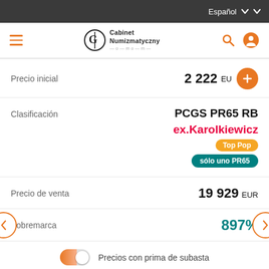Español
[Figure (screenshot): Navigation bar with hamburger menu, Cabinet Numizmatyczny logo, search and account icons]
Precio inicial   2 222 EUR
Clasificación   PCGS PR65 RB ex.Karolkiewicz Top Pop sólo uno PR65
Precio de venta   19 929 EUR
Sobremarca   897%
Precios con prima de subasta
Nota